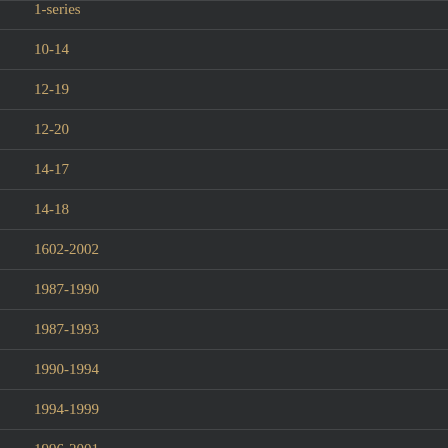1-series
10-14
12-19
12-20
14-17
14-18
1602-2002
1987-1990
1987-1993
1990-1994
1994-1999
1996-2001
1996-2002